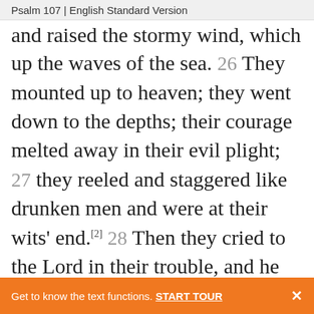Psalm 107 | English Standard Version
and raised the stormy wind, which lifted up the waves of the sea. 26 They mounted up to heaven; they went down to the depths; their courage melted away in their evil plight; 27 they reeled and staggered like drunken men and were at their wits' end.[2] 28 Then they cried to the Lord in their trouble, and he delivered them from their distress. 29 He made the storm be still, and the waves of
Get to know the text functions. START TOUR